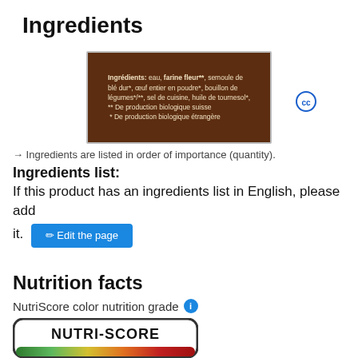Ingredients
[Figure (photo): Photo of product label showing ingredients in French: Ingrédients: eau, farine fleur**, semoule de blé dur*, œuf entier en poudre*, bouillon de légumes*/***, sel de cuisine, huile de tournesol*, ** De production biologique suisse, * De production biologique étrangère]
[Figure (logo): Creative Commons CC icon (circle with CC letters)]
→ Ingredients are listed in order of importance (quantity).
Ingredients list:
If this product has an ingredients list in English, please add it.
Edit the page
Nutrition facts
NutriScore color nutrition grade
[Figure (infographic): NutriScore label showing NUTRI-SCORE title and colored rating bar (A through E scale)]